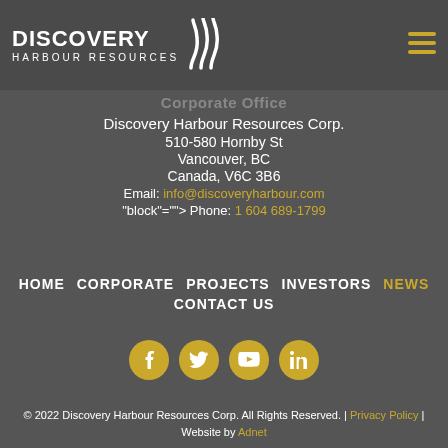[Figure (logo): Discovery Harbour Resources logo with stylized wave mark on dark grey header bar]
Corporate Office
Discovery Harbour Resources Corp.
510-580 Hornby St
Vancouver, BC
Canada, V6C 3B6
Email: info@discoveryharbour.com
"block"=""> Phone: 1 604 689-1799
HOME   CORPORATE   PROJECTS   INVESTORS   NEWS
CONTACT US
[Figure (illustration): Four circular gold social media icons: Facebook, Twitter, YouTube, LinkedIn]
© 2022 Discovery Harbour Resources Corp. All Rights Reserved. | Privacy Policy | Website by Adnet